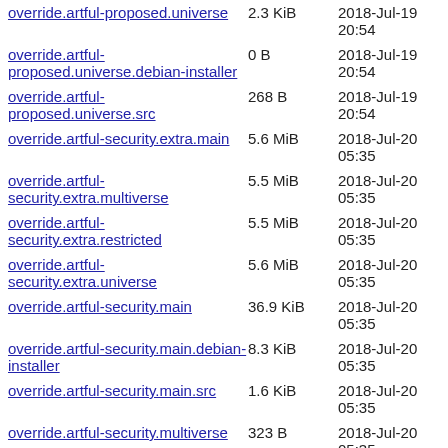override.artful-proposed.universe | 2.3 KiB | 2018-Jul-19 20:54
override.artful-proposed.universe.debian-installer | 0 B | 2018-Jul-19 20:54
override.artful-proposed.universe.src | 268 B | 2018-Jul-19 20:54
override.artful-security.extra.main | 5.6 MiB | 2018-Jul-20 05:35
override.artful-security.extra.multiverse | 5.5 MiB | 2018-Jul-20 05:35
override.artful-security.extra.restricted | 5.5 MiB | 2018-Jul-20 05:35
override.artful-security.extra.universe | 5.6 MiB | 2018-Jul-20 05:35
override.artful-security.main | 36.9 KiB | 2018-Jul-20 05:35
override.artful-security.main.debian-installer | 8.3 KiB | 2018-Jul-20 05:35
override.artful-security.main.src | 1.6 KiB | 2018-Jul-20 05:35
override.artful-security.multiverse | 323 B | 2018-Jul-20 05:35
override.artful- | 2018-Jul-20